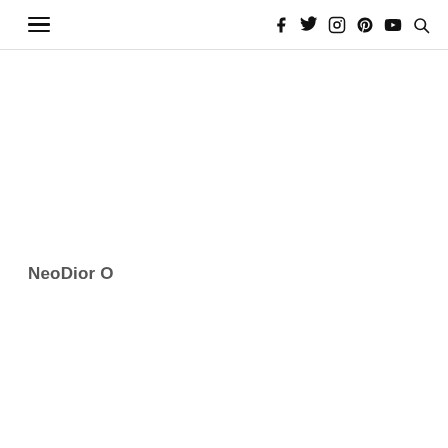Navigation bar with hamburger menu and social/search icons
NeoDior O